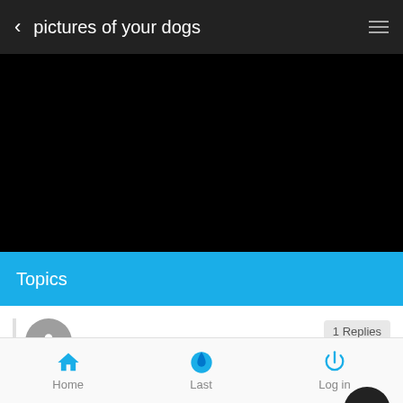< pictures of your dogs ≡
[Figure (photo): Black image area (dark content/banner)]
Topics
THIS IS BULTEN
Latest post from GREATBULLS, Thu Dec 16, 2010 9 pm ›
Home  Last  Log in